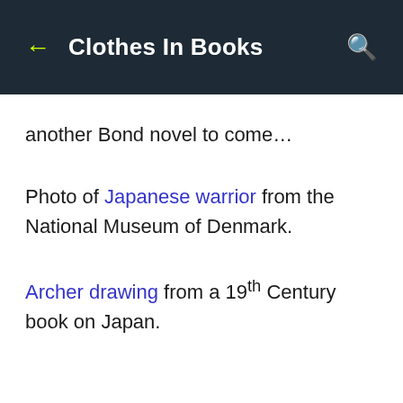Clothes In Books
another Bond novel to come…
Photo of Japanese warrior from the National Museum of Denmark.
Archer drawing from a 19th Century book on Japan.